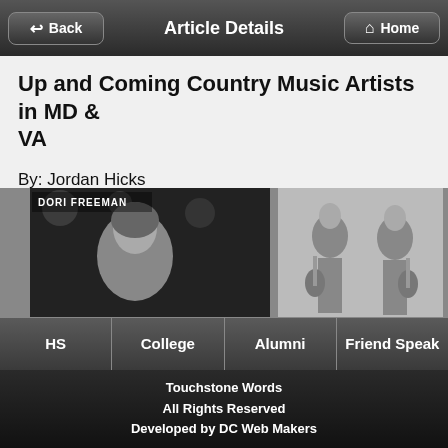Article Details
Up and Coming Country Music Artists in MD & VA
By: Jordan Hicks
On: 2016-11-02
Summary:
This article covers a short review of Up and Coming Country Music Artists Dori Freeman (Virgina) and Chesapeake Sons (Maryland).
[Figure (photo): Two photos side by side: left is a black-and-white photo of Dori Freeman with 'DORI FREEMAN' text overlay; right is a black-and-white photo of two people (Chesapeake Sons) with guitars.]
HS | College | Alumni | Friend Speak
Touchstone Words
All Rights Reserved
Developed by DC Web Makers